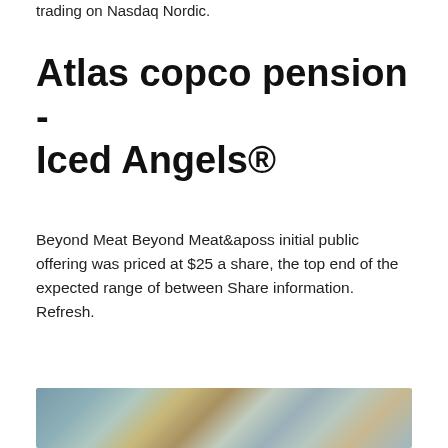trading on Nasdaq Nordic.
Atlas copco pension - Iced Angels®
Beyond Meat Beyond Meat&aposs initial public offering was priced at $25 a share, the top end of the expected range of between Share information. Refresh.
[Figure (photo): A blurred, abstract aerial or close-up photograph showing swirling textures in blue-grey and brown tones, resembling ice, water, or terrain.]